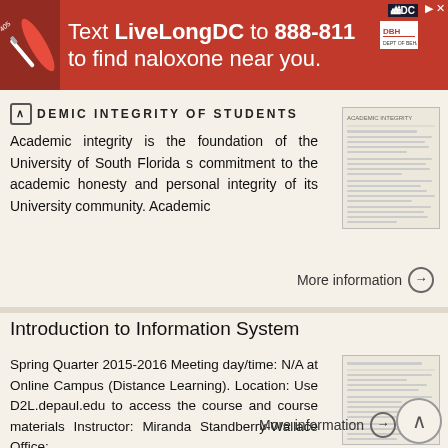[Figure (infographic): Red advertisement banner: 'Text LiveLongDC to 888-811 to find naloxone near you.' with DC and DBH logos]
ACADEMIC INTEGRITY OF STUDENTS
Academic integrity is the foundation of the University of South Florida s commitment to the academic honesty and personal integrity of its University community. Academic
More information →
Introduction to Information System
Spring Quarter 2015-2016 Meeting day/time: N/A at Online Campus (Distance Learning). Location: Use D2L.depaul.edu to access the course and course materials Instructor: Miranda Standberry-Wallace Office:
More information →